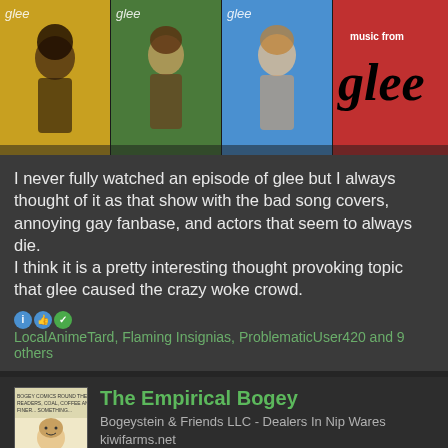[Figure (photo): Glee TV show promotional image grid with four colorful panels showing cast members and the Glee music logo]
I never fully watched an episode of glee but I always thought of it as that show with the bad song covers, annoying gay fanbase, and actors that seem to always die.
I think it is a pretty interesting thought provoking topic that glee caused the crazy woke crowd.
LocalAnimeTard, Flaming Insignias, ProblematicUser420 and 9 others
The Empirical Bogey
Bogeystein & Friends LLC - Dealers In Nip Wares
kiwifarms.net
Jan 26, 2022
#1,342
Recently I finished watching Wendigoon's series on